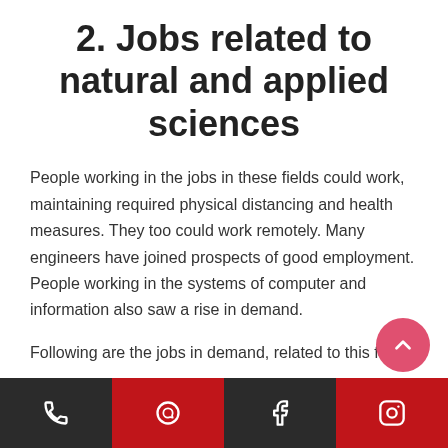2. Jobs related to natural and applied sciences
People working in the jobs in these fields could work, maintaining required physical distancing and health measures. They too could work remotely. Many engineers have joined prospects of good employment. People working in the systems of computer and information also saw a rise in demand.
Following are the jobs in demand, related to this field:
Phone | WhatsApp | Facebook | Instagram